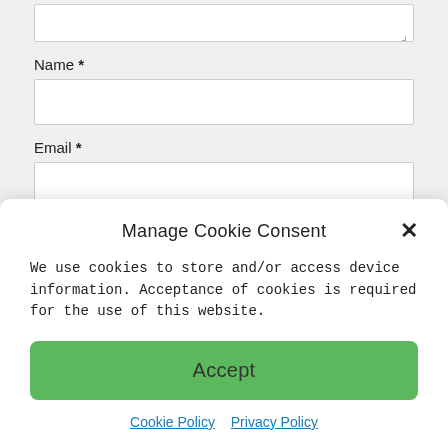[textarea input box]
Name *
[name input box]
Email *
[email input box]
Post Comment
Manage Cookie Consent
We use cookies to store and/or access device information. Acceptance of cookies is required for the use of this website.
Accept
Cookie Policy  Privacy Policy